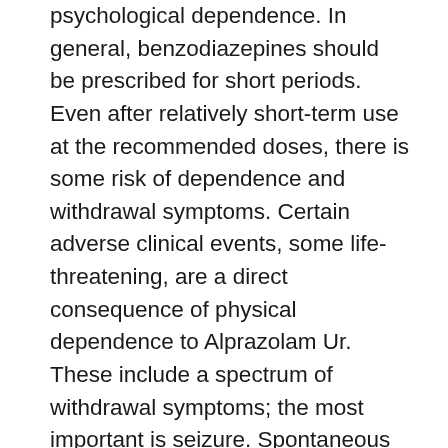psychological dependence. In general, benzodiazepines should be prescribed for short periods. Even after relatively short-term use at the recommended doses, there is some risk of dependence and withdrawal symptoms. Certain adverse clinical events, some life-threatening, are a direct consequence of physical dependence to Alprazolam Ur. These include a spectrum of withdrawal symptoms; the most important is seizure. Spontaneous reporting system data suggest that the risk of dependence and its severity appear to be greater in patients treated with doses greater than 4 mg per day and for long periods (more than 12 weeks). However, in a controlled postmarketing discontinuation study of panic disorder patients, the duration of